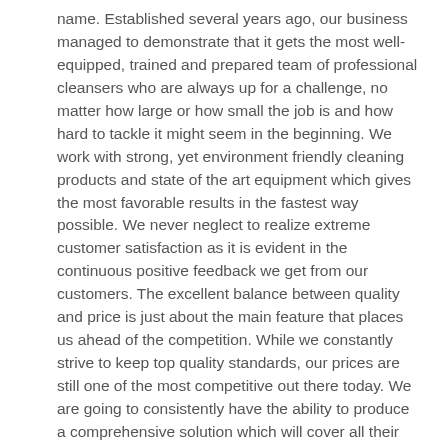name. Established several years ago, our business managed to demonstrate that it gets the most well-equipped, trained and prepared team of professional cleansers who are always up for a challenge, no matter how large or how small the job is and how hard to tackle it might seem in the beginning. We work with strong, yet environment friendly cleaning products and state of the art equipment which gives the most favorable results in the fastest way possible. We never neglect to realize extreme customer satisfaction as it is evident in the continuous positive feedback we get from our customers. The excellent balance between quality and price is just about the main feature that places us ahead of the competition. While we constantly strive to keep top quality standards, our prices are still one of the most competitive out there today. We are going to consistently have the ability to produce a comprehensive solution which will cover all their needs, even if the client is on a limited budget. We offer free no obligation quotes upon contact and tailor individual plans for every task we have been hired to do, so that every measure of the process is clear and the customer knows just what is done on his property. We can be reached for booking and quotes via telephone, email or by directly coming by our office.